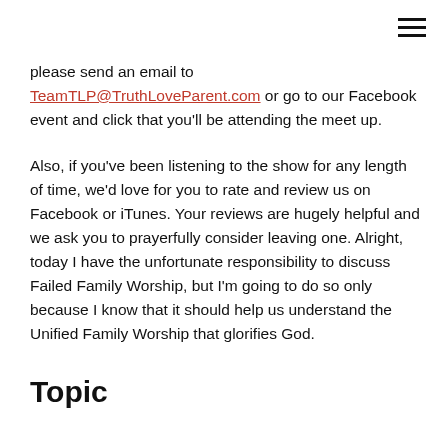please send an email to TeamTLP@TruthLoveParent.com or go to our Facebook event and click that you'll be attending the meet up.
Also, if you've been listening to the show for any length of time, we'd love for you to rate and review us on Facebook or iTunes. Your reviews are hugely helpful and we ask you to prayerfully consider leaving one. Alright, today I have the unfortunate responsibility to discuss Failed Family Worship, but I'm going to do so only because I know that it should help us understand the Unified Family Worship that glorifies God.
Topic